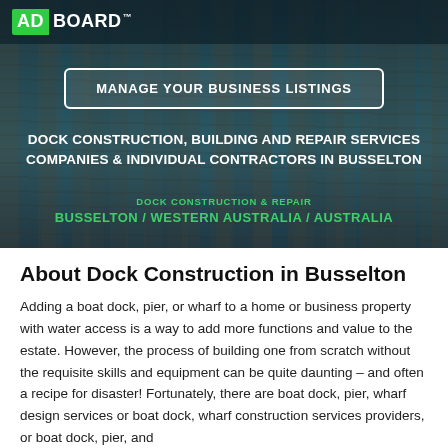ADBOARD™
MANAGE YOUR BUSINESS LISTINGS
DOCK CONSTRUCTION, BUILDING AND REPAIR SERVICES COMPANIES & INDIVIDUAL CONTRACTORS IN BUSSELTON
DOCK CONSTRUCTION & REPAIR
BUSSELTON / WESTERN AUSTRALIA / AUSTRALIA
About Dock Construction in Busselton
Adding a boat dock, pier, or wharf to a home or business property with water access is a way to add more functions and value to the estate. However, the process of building one from scratch without the requisite skills and equipment can be quite daunting – and often a recipe for disaster! Fortunately, there are boat dock, pier, wharf design services or boat dock, wharf construction services providers, or boat dock, pier, and